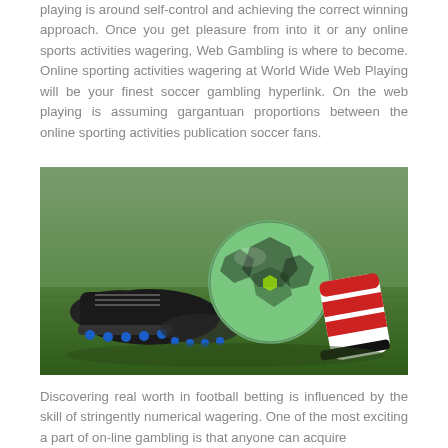playing is around self-control and achieving the correct winning approach. Once you get pleasure from into it or any online sports activities wagering, Web Gambling is where to become. Online sporting activities wagering at World Wide Web Playing will be your finest soccer gambling hyperlink. On the web playing is assuming gargantuan proportions between the online sporting activities publication soccer fans.
[Figure (photo): A soccer ball, a pair of black football boots with blue studs, and a red and white striped shin guard lying on green grass.]
Discovering real worth in football betting is influenced by the skill of stringently numerical wagering. One of the most exciting a part of on-line gambling is that anyone can acquire